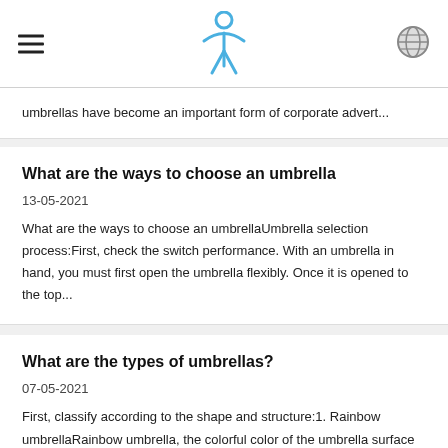[hamburger menu] [person/accessibility logo] [globe icon]
umbrellas have become an important form of corporate advert...
What are the ways to choose an umbrella
13-05-2021
What are the ways to choose an umbrellaUmbrella selection process:First, check the switch performance. With an umbrella in hand, you must first open the umbrella flexibly. Once it is opened to the top...
What are the types of umbrellas?
07-05-2021
First, classify according to the shape and structure:1. Rainbow umbrellaRainbow umbrella, the colorful color of the umbrella surface is like a rainbow. In our country, it is loved by many people becau...